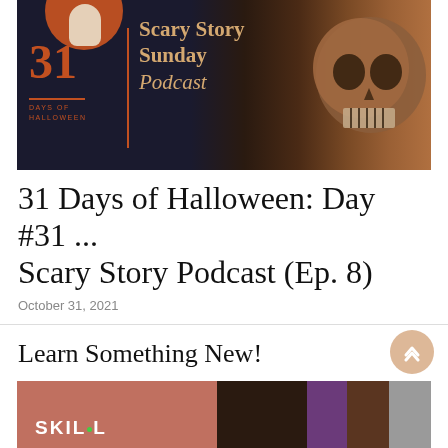[Figure (illustration): Podcast cover image: dark background with skull on right side, orange circle top-left, text overlay reading '31 DAYS OF HALLOWEEN | Scary Story Sunday Podcast']
31 Days of Halloween: Day #31 ... Scary Story Podcast (Ep. 8)
October 31, 2021
Learn Something New!
[Figure (screenshot): Bottom banner showing Skillshare advertisement with 'SKILL' text visible and colorful photo collage on the right]